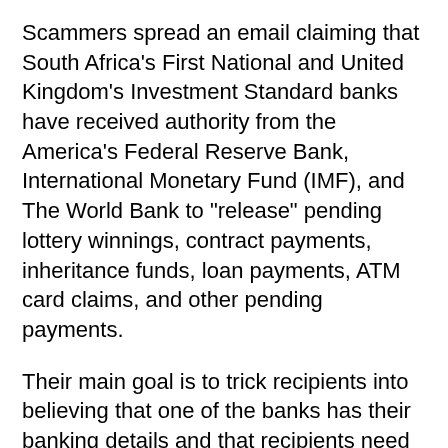Scammers spread an email claiming that South Africa's First National and United Kingdom's Investment Standard banks have received authority from the America's Federal Reserve Bank, International Monetary Fund (IMF), and The World Bank to "release" pending lottery winnings, contract payments, inheritance funds, loan payments, ATM card claims, and other pending payments.
Their main goal is to trick recipients into believing that one of the banks has their banking details and that recipients need to confirm if those details are correct. In this way, scammers attempt to trick recipients into providing their credit card details.
It is likely that scammers may ask to pay a "transaction" or "processing" or some other fee (pay upfront fees for "financial services", which are never provided). Therefore, this is either a prepayment scam or a phishing email and, therefore, cannot be trusted.